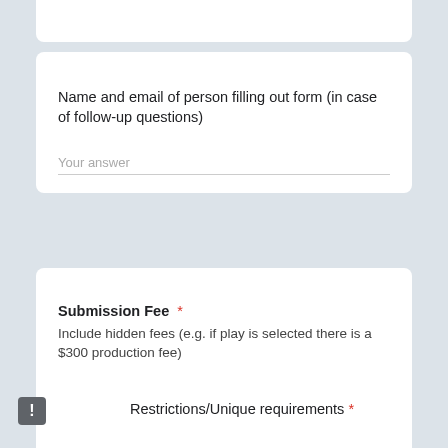Name and email of person filling out form (in case of follow-up questions)
Your answer
Submission Fee *
Include hidden fees (e.g. if play is selected there is a $300 production fee)
Your answer
Restrictions/Unique requirements *